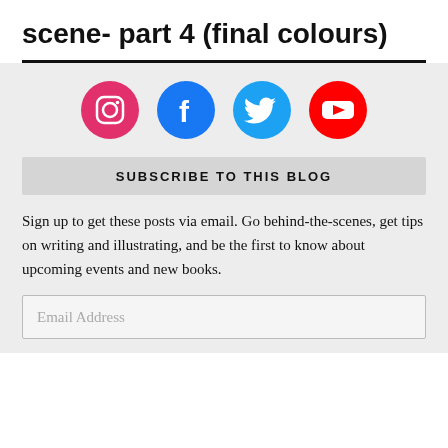scene- part 4 (final colours)
[Figure (infographic): Four social media icons in circles: Instagram (pink/red), Facebook (blue), Twitter (light blue), YouTube (red)]
SUBSCRIBE TO THIS BLOG
Sign up to get these posts via email. Go behind-the-scenes, get tips on writing and illustrating, and be the first to know about upcoming events and new books.
Email Address